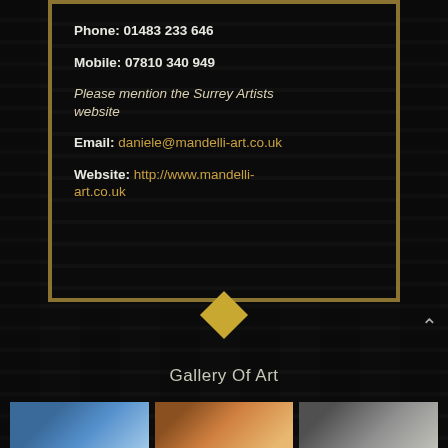Phone: 01483 233 646
Mobile: 07810 340 949
Please mention the Surrey Artists website
Email: daniele@mandelli-art.co.uk
Website: http://www.mandelli-art.co.uk
Gallery Of Art
[Figure (photo): Three small gallery thumbnail images at bottom of page]